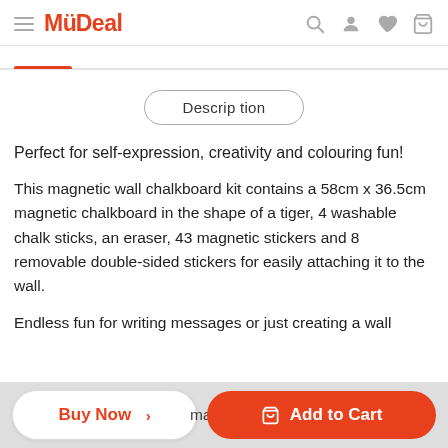MyDeal
Description
Perfect for self-expression, creativity and colouring fun!
This magnetic wall chalkboard kit contains a 58cm x 36.5cm magnetic chalkboard in the shape of a tiger, 4 washable chalk sticks, an eraser, 43 magnetic stickers and 8 removable double-sided stickers for easily attaching it to the wall.
Endless fun for writing messages or just creating a wall magn... for... run, and m...